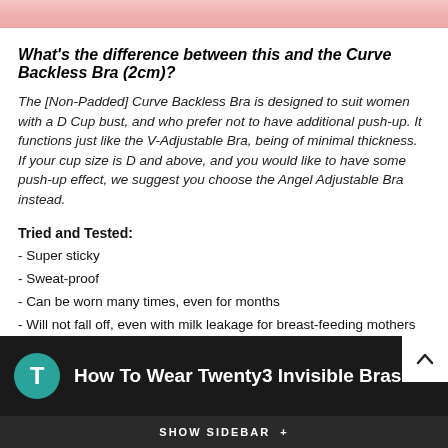What's the difference between this and the Curve Backless Bra (2cm)?
The [Non-Padded] Curve Backless Bra is designed to suit women with a D Cup bust, and who prefer not to have additional push-up. It functions just like the V-Adjustable Bra, being of minimal thickness.
If your cup size is D and above, and you would like to have some push-up effect, we suggest you choose the Angel Adjustable Bra instead.
Tried and Tested:
- Super sticky
- Sweat-proof
- Can be worn many times, even for months
- Will not fall off, even with milk leakage for breast-feeding mothers
- Just what you need for nights out, parties, dance classes, you name it!
[Figure (screenshot): Video thumbnail with teal T icon and title 'How To Wear Twenty3 Invisible Bras' on dark background, with SHOW SIDEBAR + button bar at bottom]